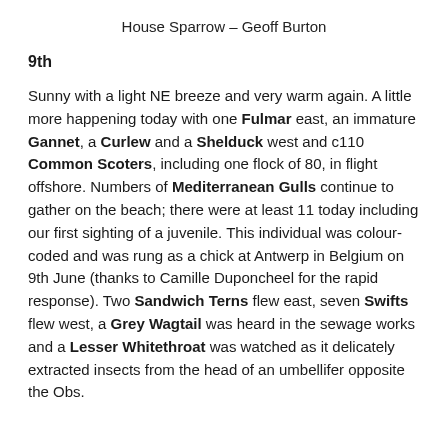House Sparrow – Geoff Burton
9th
Sunny with a light NE breeze and very warm again. A little more happening today with one Fulmar east, an immature Gannet, a Curlew and a Shelduck west and c110 Common Scoters, including one flock of 80, in flight offshore. Numbers of Mediterranean Gulls continue to gather on the beach; there were at least 11 today including our first sighting of a juvenile. This individual was colour-coded and was rung as a chick at Antwerp in Belgium on 9th June (thanks to Camille Duponcheel for the rapid response). Two Sandwich Terns flew east, seven Swifts flew west, a Grey Wagtail was heard in the sewage works and a Lesser Whitethroat was watched as it delicately extracted insects from the head of an umbellifer opposite the Obs.